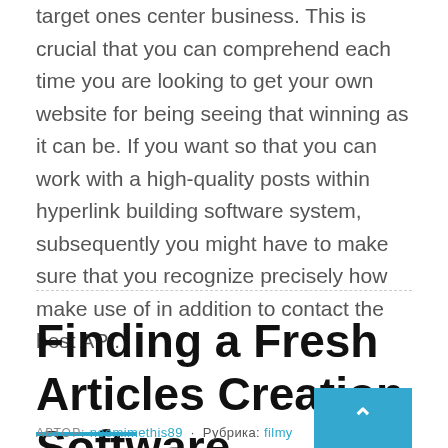target ones center business. This is crucial that you can comprehend each time you are looking to get your own website for being seeing that winning as it can be. If you want so that you can work with a high-quality posts within hyperlink building software system, subsequently you might have to make sure that you recognize precisely how make use of in addition to contact the best API.
Finding a Fresh Articles Creation Software
AUTHOR: noemimethis89  ·  Рубрика: filmy